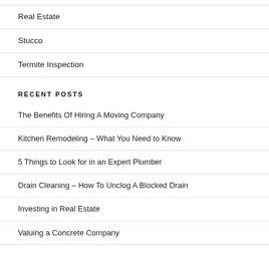Real Estate
Stucco
Termite Inspection
RECENT POSTS
The Benefits Of Hiring A Moving Company
Kitchen Remodeling – What You Need to Know
5 Things to Look for in an Expert Plumber
Drain Cleaning – How To Unclog A Blocked Drain
Investing in Real Estate
Valuing a Concrete Company